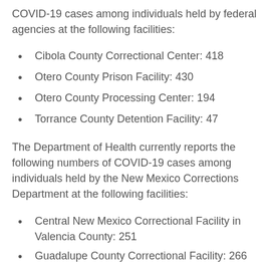COVID-19 cases among individuals held by federal agencies at the following facilities:
Cibola County Correctional Center: 418
Otero County Prison Facility: 430
Otero County Processing Center: 194
Torrance County Detention Facility: 47
The Department of Health currently reports the following numbers of COVID-19 cases among individuals held by the New Mexico Corrections Department at the following facilities:
Central New Mexico Correctional Facility in Valencia County: 251
Guadalupe County Correctional Facility: 266